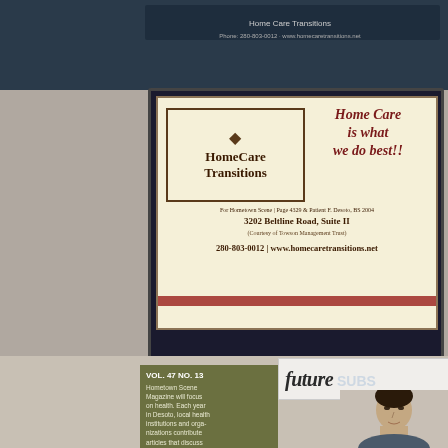[Figure (screenshot): Dark blue top navigation bar area of a website]
[Figure (photo): Advertisement for Home Care Transitions on a beige background. Shows logo with diamond and text, tagline 'Home Care is what we do best!', address 3202 Beltline Road, Suite II, phone 280-803-0012, www.homecaretransitions.net]
[Figure (screenshot): Lower portion showing 'future' text header, olive green box with Vol. 47 No. 13 publication info, and a person's face photo]
Vol. 47 No. 13
Hometown Scene Magazine will focus on health. Each year in Desoto, local health institutions and organizations contribute articles that discuss tips, resources, pro-